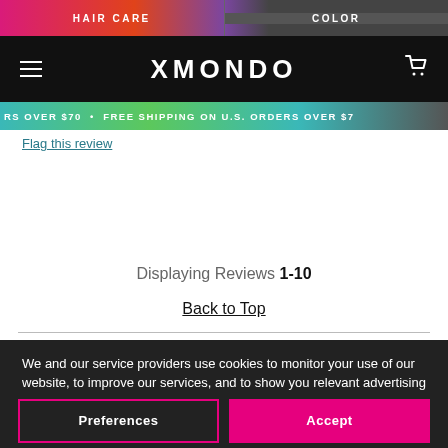HAIR CARE | COLOR
XMONDO
RS OVER $70 • FREE SHIPPING ON U.S. ORDERS OVER $7
Flag this review
Displaying Reviews 1-10
Back to Top
We and our service providers use cookies to monitor your use of our website, to improve our services, and to show you relevant advertising on and off our website. By clicking the “Accept” button, you give us permission for this activity. For more information on cookies, please refer to our Privacy Policy
Preferences
Accept